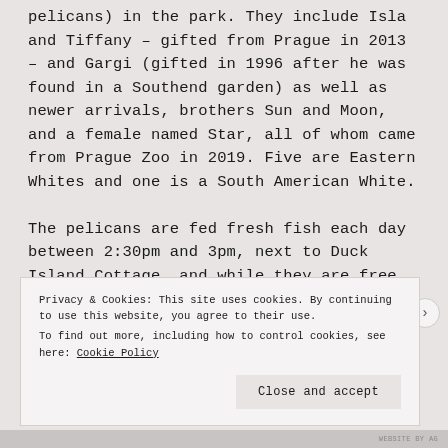pelicans) in the park. They include Isla and Tiffany – gifted from Prague in 2013 – and Gargi (gifted in 1996 after he was found in a Southend garden) as well as newer arrivals, brothers Sun and Moon, and a female named Star, all of whom came from Prague Zoo in 2019. Five are Eastern Whites and one is a South American White.

The pelicans are fed fresh fish each day between 2:30pm and 3pm, next to Duck Island Cottage, and while they are free to go where they wish, they rarely go far from the almost 57 acre park. But they did
Privacy & Cookies: This site uses cookies. By continuing to use this website, you agree to their use.
To find out more, including how to control cookies, see here: Cookie Policy
Close and accept
WEBSITE BY AG